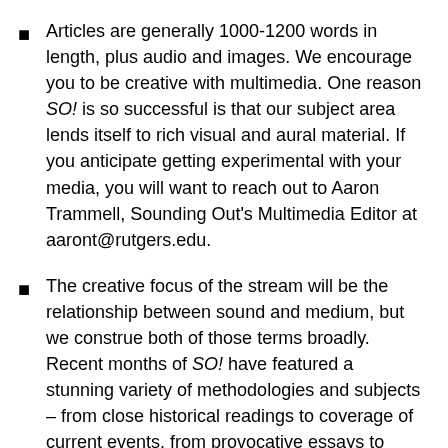Articles are generally 1000-1200 words in length, plus audio and images. We encourage you to be creative with multimedia. One reason SO! is so successful is that our subject area lends itself to rich visual and aural material. If you anticipate getting experimental with your media, you will want to reach out to Aaron Trammell, Sounding Out's Multimedia Editor at aaront@rutgers.edu.
The creative focus of the stream will be the relationship between sound and medium, but we construe both of those terms broadly. Recent months of SO! have featured a stunning variety of methodologies and subjects – from close historical readings to coverage of current events, from provocative essays to podcast scripts – and we hope to see interdisciplinarity in your